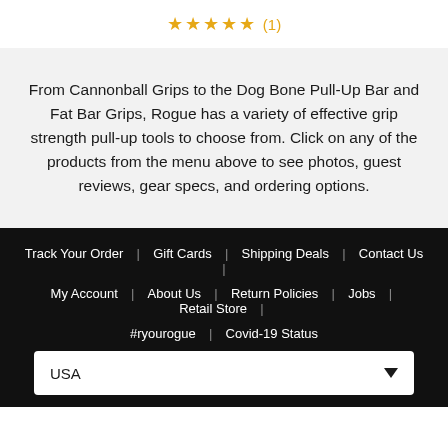[Figure (other): Star rating: 5 gold stars with review count (1)]
From Cannonball Grips to the Dog Bone Pull-Up Bar and Fat Bar Grips, Rogue has a variety of effective grip strength pull-up tools to choose from. Click on any of the products from the menu above to see photos, guest reviews, gear specs, and ordering options.
Track Your Order | Gift Cards | Shipping Deals | Contact Us | My Account | About Us | Return Policies | Jobs | Retail Store | #ryourogue | Covid-19 Status | USA